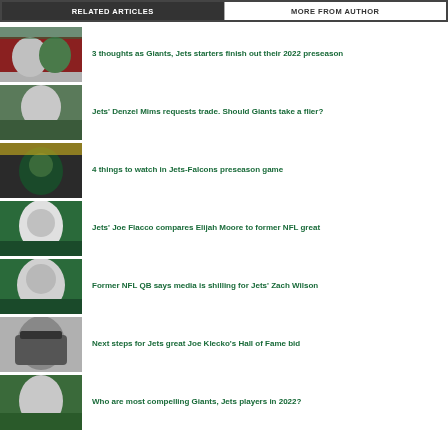RELATED ARTICLES | MORE FROM AUTHOR
3 thoughts as Giants, Jets starters finish out their 2022 preseason
Jets' Denzel Mims requests trade. Should Giants take a flier?
4 things to watch in Jets-Falcons preseason game
Jets' Joe Flacco compares Elijah Moore to former NFL great
Former NFL QB says media is shilling for Jets' Zach Wilson
Next steps for Jets great Joe Klecko's Hall of Fame bid
Who are most compelling Giants, Jets players in 2022?